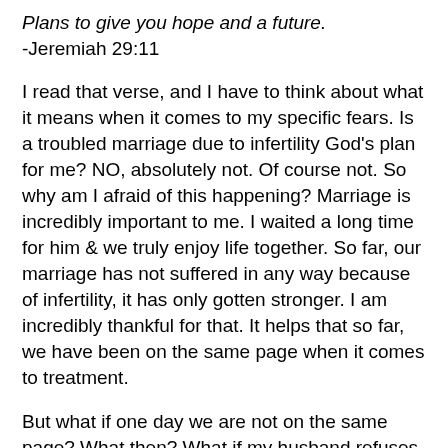Plans to give you hope and a future.
-Jeremiah 29:11
I read that verse, and I have to think about what it means when it comes to my specific fears. Is a troubled marriage due to infertility God's plan for me? NO, absolutely not. Of course not. So why am I afraid of this happening? Marriage is incredibly important to me. I waited a long time for him & we truly enjoy life together. So far, our marriage has not suffered in any way because of infertility, it has only gotten stronger. I am incredibly thankful for that. It helps that so far, we have been on the same page when it comes to treatment.
But what if one day we are not on the same page? What then? What if my husband refuses treatments that cost more money & we are unable to do them & I miss out on one of life's greatest gifts, and the one thing I have always wanted to be? These are the fears that i have got to quiet. Just because I know so many people whose IUI's failed & who had to go to IVF - that doesn't mean that is going to be what happens here. So why worry about it when i am not even